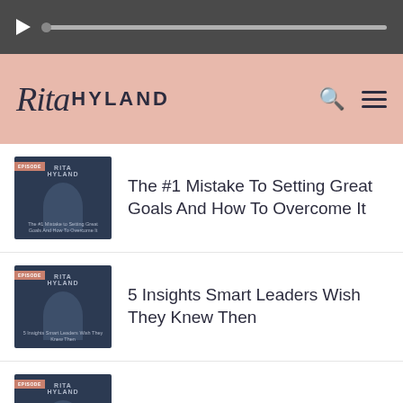[Figure (screenshot): Dark audio player bar with play button and progress bar]
[Figure (logo): Rita Hyland website header logo on pink background with search and menu icons]
The #1 Mistake To Setting Great Goals And How To Overcome It
5 Insights Smart Leaders Wish They Knew Then
How To Do Less Better
Focus, Something, When M... (partial)